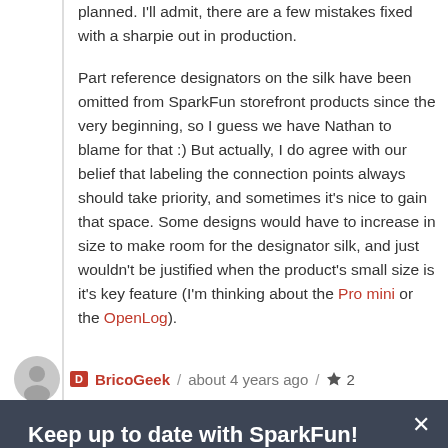planned. I'll admit, there are a few mistakes fixed with a sharpie out in production.
Part reference designators on the silk have been omitted from SparkFun storefront products since the very beginning, so I guess we have Nathan to blame for that :) But actually, I do agree with our belief that labeling the connection points always should take priority, and sometimes it's nice to gain that space. Some designs would have to increase in size to make room for the designator silk, and just wouldn't be justified when the product's small size is it's key feature (I'm thinking about the Pro mini or the OpenLog).
BricoGeek / about 4 years ago / ★ 2
Keep up to date with SparkFun!
Get a recap of the previous week's news.
SUBSCRIBE NOW